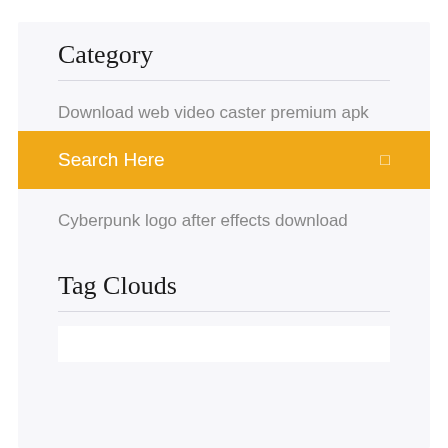Category
Download web video caster premium apk
Search Here
Cyberpunk logo after effects download
Tag Clouds